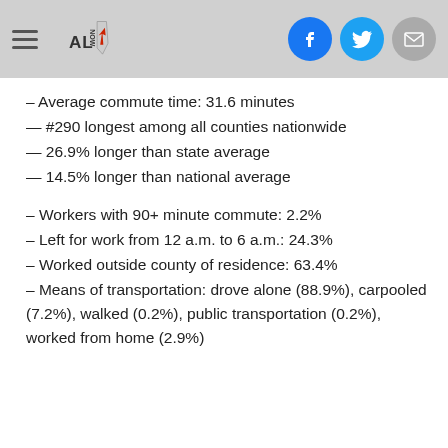ALNow header with logo and social icons
– Average commute time: 31.6 minutes
— #290 longest among all counties nationwide
— 26.9% longer than state average
— 14.5% longer than national average
– Workers with 90+ minute commute: 2.2%
– Left for work from 12 a.m. to 6 a.m.: 24.3%
– Worked outside county of residence: 63.4%
– Means of transportation: drove alone (88.9%), carpooled (7.2%), walked (0.2%), public transportation (0.2%), worked from home (2.9%)